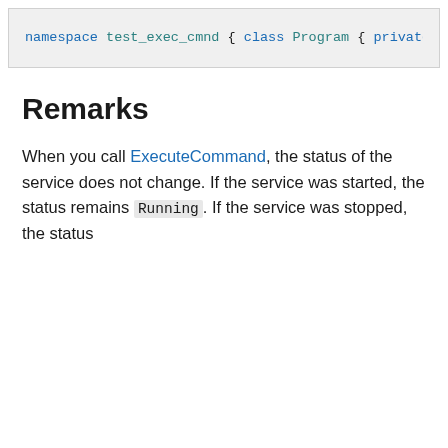[Figure (screenshot): Code block showing C# namespace test_exec_cmnd with class Program containing private enum SimpleServiceCustomCommands and static void Main method with ServiceController and ExecuteCommand calls]
Remarks
When you call ExecuteCommand, the status of the service does not change. If the service was started, the status remains Running. If the service was stopped, the status